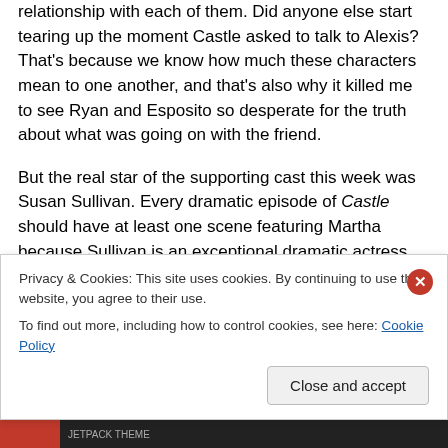relationship with each of them. Did anyone else start tearing up the moment Castle asked to talk to Alexis? That's because we know how much these characters mean to one another, and that's also why it killed me to see Ryan and Esposito so desperate for the truth about what was going on with the friend.
But the real star of the supporting cast this week was Susan Sullivan. Every dramatic episode of Castle should have at least one scene featuring Martha because Sullivan is an exceptional dramatic actress. Her reactions to Castle's phone call were devastating because you could
Privacy & Cookies: This site uses cookies. By continuing to use this website, you agree to their use.
To find out more, including how to control cookies, see here: Cookie Policy